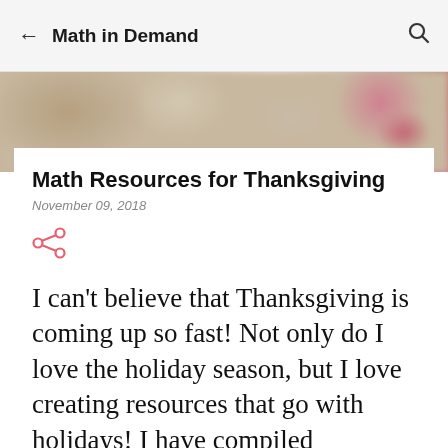Math in Demand
[Figure (photo): Blurred Thanksgiving-themed background image with warm autumn tones and a red/pink accent on the right side.]
Math Resources for Thanksgiving
November 09, 2018
[Figure (other): Share icon (pink/salmon colored share button)]
I can't believe that Thanksgiving is coming up so fast!  Not only do I love the holiday season, but I love creating resources that go with holidays!  I have compiled